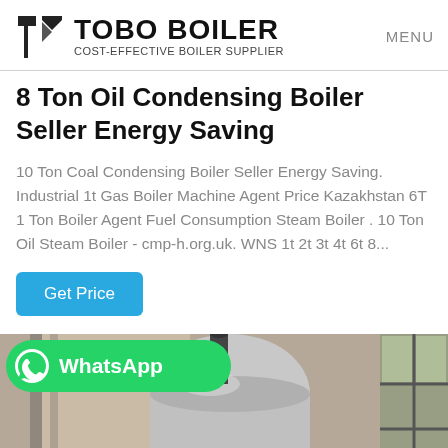TOBO BOILER COST-EFFECTIVE BOILER SUPPLIER | MENU
8 Ton Oil Condensing Boiler Seller Energy Saving
10 Ton Coal Condensing Boiler Seller Energy Saving. Industrial 1t Gas Boiler Machine Agent Price Kazakhstan 6T 1 Ton Boiler Agent Fuel Consumption Steam Boiler . 10 Ton Oil Steam Boiler - cmp-h.org.uk. WNS 1t 2t 3t 4t 6t 8...
Get Price
[Figure (photo): WhatsApp logo overlay banner in green with boiler industrial equipment photo in background showing industrial boiler in warehouse setting]